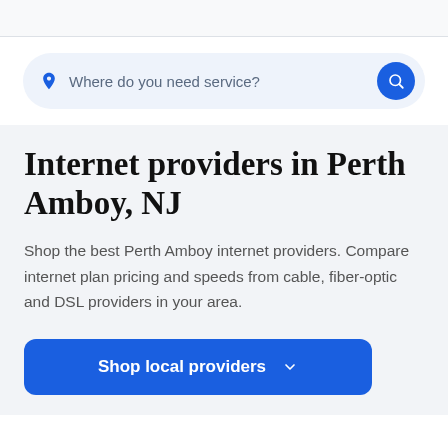[Figure (screenshot): Search bar with location pin icon and text 'Where do you need service?' with blue search button]
Internet providers in Perth Amboy, NJ
Shop the best Perth Amboy internet providers. Compare internet plan pricing and speeds from cable, fiber-optic and DSL providers in your area.
Shop local providers ∨